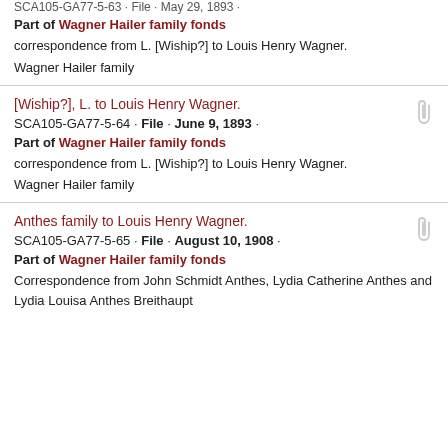Part of Wagner Hailer family fonds
correspondence from L. [Wiship?] to Louis Henry Wagner.
Wagner Hailer family
[Wiship?], L. to Louis Henry Wagner.
SCA105-GA77-5-64 · File · June 9, 1893 ·
Part of Wagner Hailer family fonds
correspondence from L. [Wiship?] to Louis Henry Wagner.
Wagner Hailer family
Anthes family to Louis Henry Wagner.
SCA105-GA77-5-65 · File · August 10, 1908 ·
Part of Wagner Hailer family fonds
Correspondence from John Schmidt Anthes, Lydia Catherine Anthes and Lydia Louisa Anthes Breithaupt